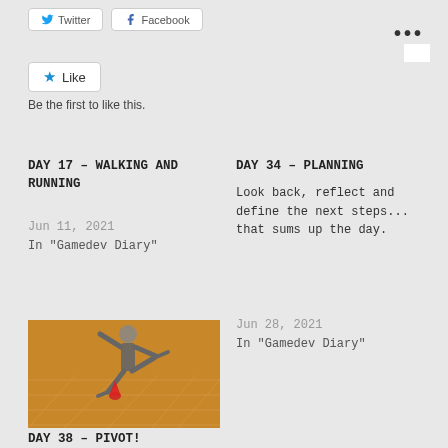[Figure (screenshot): Top navigation buttons: Twitter and Facebook share buttons]
...
[Figure (screenshot): Like button with star icon]
Be the first to like this.
DAY 17 - WALKING AND RUNNING
Jun 11, 2021
In "Gamedev Diary"
DAY 34 - PLANNING
Look back, reflect and define the next steps... that sums up the day.
Jun 28, 2021
In "Gamedev Diary"
[Figure (illustration): 3D character figure of a person in a suit doing a pivot/dance move on an orange grid floor]
DAY 38 - PIVOT!